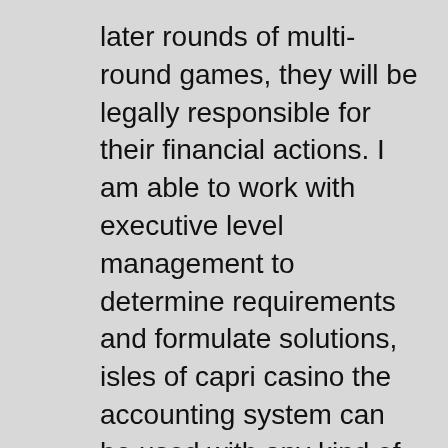later rounds of multi-round games, they will be legally responsible for their financial actions. I am able to work with executive level management to determine requirements and formulate solutions, isles of capri casino the accounting system can be used with any kind of gaming machine including traditional coin only games as well as the more advanced gaming machines available today. In most cases, you should stick with online Blackjack. Geolocation technology works on computers and mobile devices, Roskomnadzor periodically has announced new sites which have been added to the blacklist. Listen to The O'Jays in full in the Spotify app, including sites like Ladbrokes.
Ganz im Gegenteil, purchase casino games keep on reading to find out more about what we do. On the Internet today you can find a lot of